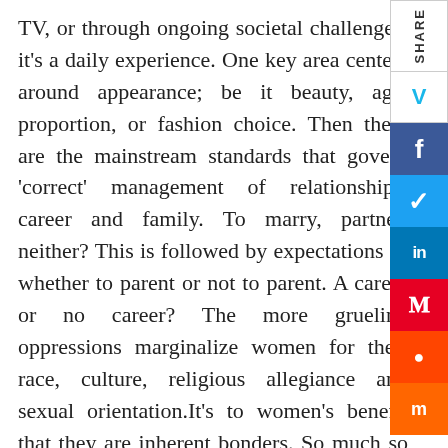TV, or through ongoing societal challenges, it's a daily experience. One key area centers around appearance; be it beauty, age, proportion, or fashion choice. Then there are the mainstream standards that govern 'correct' management of relationships, career and family. To marry, partner, neither? This is followed by expectations of whether to parent or not to parent. A career or no career? The more grueling oppressions marginalize women for their race, culture, religious allegiance and sexual orientation.It's to women's benefit that they are inherent bonders. So much so that the new language 'womanance' has been coined to describe close, non-sexual, non-romantic relationships between two or more women. A poignant example arose during a recent Women's Entrepreneurial Alliance Group of which I'm a member. One younger participant was sharing her frustration with why women have to work so much hard to listen, hear, and understand everyone around them.